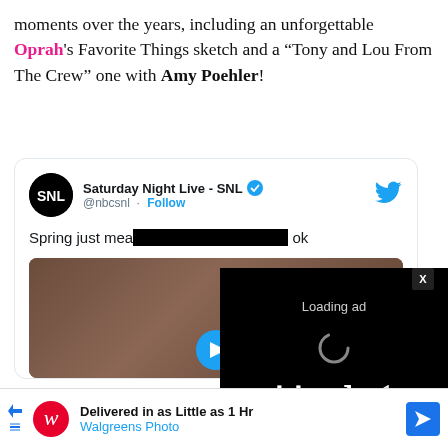moments over the years, including an unforgettable Oprah's Favorite Things sketch and a “Tony and Lou From The Crew” one with Amy Poehler!
[Figure (screenshot): Embedded tweet from @nbcsnl (Saturday Night Live - SNL) with text 'Spring just mea... ok' and a video thumbnail partially covered by an ad loading overlay with pause, resize, and mute controls. A Walgreens Photo advertisement banner appears at the bottom.]